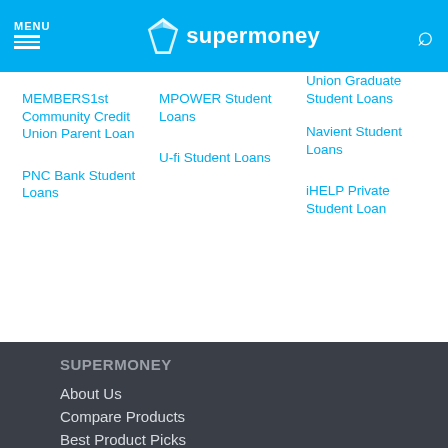MENU | supermoney
Union Graduate Student Loans
MEMBERS1st Community Credit Union Parent Loan
MPOWER Student Loans
Navient Student Loans
PNC Bank Student Loans
U-fi Student Loans
iHELP Private Student Loan
SUPERMONEY
About Us
Compare Products
Best Product Picks
Help Center